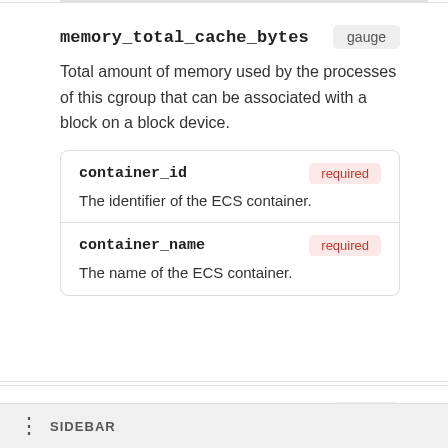memory_total_cache_bytes
Total amount of memory used by the processes of this cgroup that can be associated with a block on a block device.
| Attribute | Requirement |
| --- | --- |
| container_id | required | The identifier of the ECS container. |
| container_name | required | The name of the ECS container. |
memory_total_dirty_bytes
Total amount of memory waiting to get
SIDEBAR